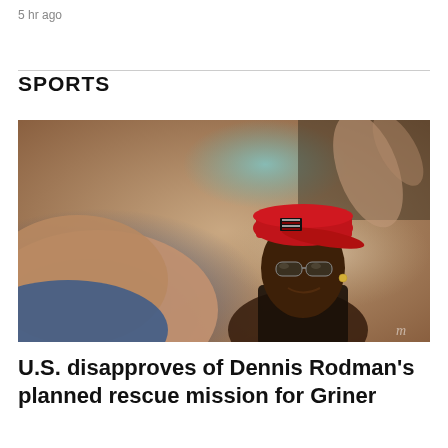5 hr ago
SPORTS
[Figure (photo): A man wearing a red baseball cap with a flag patch and sunglasses, photographed in profile, smiling, in a busy indoor setting.]
U.S. disapproves of Dennis Rodman's planned rescue mission for Griner